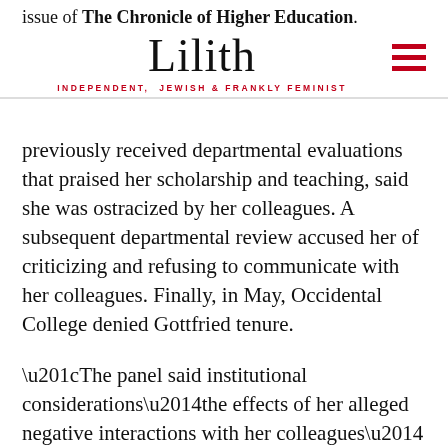issue of The Chronicle of Higher Education.
Lilith — INDEPENDENT, JEWISH & FRANKLY FEMINIST
previously received departmental evaluations that praised her scholarship and teaching, said she was ostracized by her colleagues. A subsequent departmental review accused her of criticizing and refusing to communicate with her colleagues. Finally, in May, Occidental College denied Gottfried tenure.
“The panel said institutional considerations—the effects of her alleged negative interactions with her colleagues— outweighed her strengths as a scholar and instructor,” The